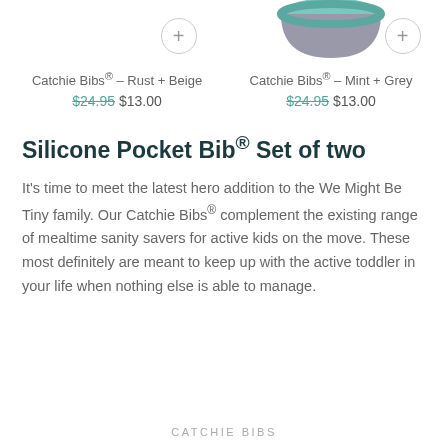[Figure (photo): Partial product images: two silicone bibs/bowls at top. Left is cut off (Rust+Beige product). Right shows a teal/mint and grey bowl (Mint+Grey product). Each has a circular plus button.]
Catchie Bibs® – Rust + Beige
$24.95 $13.00
Catchie Bibs® – Mint + Grey
$24.95 $13.00
Silicone Pocket Bib® Set of two
It's time to meet the latest hero addition to the We Might Be Tiny family. Our Catchie Bibs® complement the existing range of mealtime sanity savers for active kids on the move. These most definitely are meant to keep up with the active toddler in your life when nothing else is able to manage.
CATCHIE BIBS